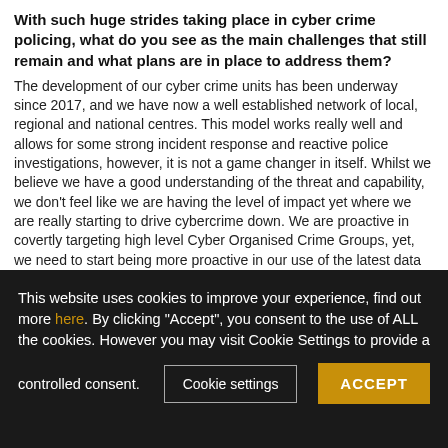With such huge strides taking place in cyber crime policing, what do you see as the main challenges that still remain and what plans are in place to address them?
The development of our cyber crime units has been underway since 2017, and we have now a well established network of local, regional and national centres. This model works really well and allows for some strong incident response and reactive police investigations, however, it is not a game changer in itself. Whilst we believe we have a good understanding of the threat and capability, we don't feel like we are having the level of impact yet where we are really starting to drive cybercrime down. We are proactive in covertly targeting high level Cyber Organised Crime Groups, yet, we need to start being more proactive in our use of the latest data and threat intelligence, being data driven instead of relying on crimes to be reported.
There are some huge opportunities that policing is starting to work towards in the UK, but there needs to be more investment in creating the platforms so that we can share evidence, intelligence
This website uses cookies to improve your experience, find out more here. By clicking "Accept", you consent to the use of ALL the cookies. However you may visit Cookie Settings to provide a controlled consent.